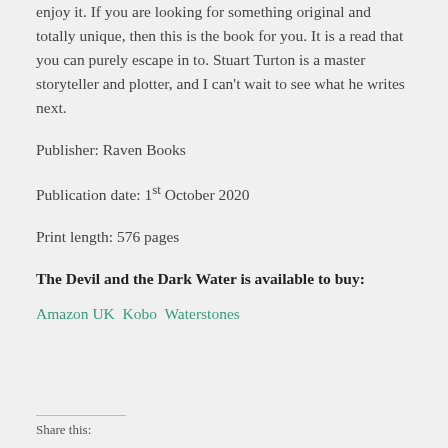enjoy it. If you are looking for something original and totally unique, then this is the book for you. It is a read that you can purely escape in to. Stuart Turton is a master storyteller and plotter, and I can't wait to see what he writes next.
Publisher: Raven Books
Publication date: 1st October 2020
Print length: 576 pages
The Devil and the Dark Water is available to buy:
Amazon UK Kobo Waterstones
Share this: